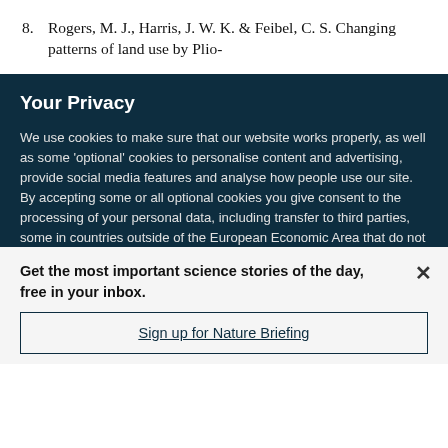8. Rogers, M. J., Harris, J. W. K. & Feibel, C. S. Changing patterns of land use by Plio-
Your Privacy
We use cookies to make sure that our website works properly, as well as some 'optional' cookies to personalise content and advertising, provide social media features and analyse how people use our site. By accepting some or all optional cookies you give consent to the processing of your personal data, including transfer to third parties, some in countries outside of the European Economic Area that do not offer the same data protection standards as the country where you live. You can decide which optional cookies to accept by clicking on 'Manage Settings', where you can
Get the most important science stories of the day, free in your inbox.
Sign up for Nature Briefing